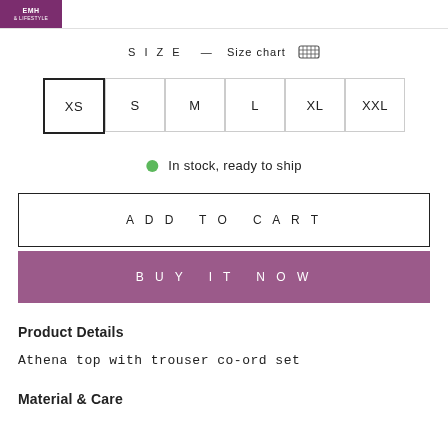[Figure (logo): Purple/magenta brand logo with text 'EMH & LIFESTYLE']
SIZE  — Size chart 📏
XS   S   M   L   XL   XXL
In stock, ready to ship
ADD TO CART
BUY IT NOW
Product Details
Athena top with trouser co-ord set
Material & Care